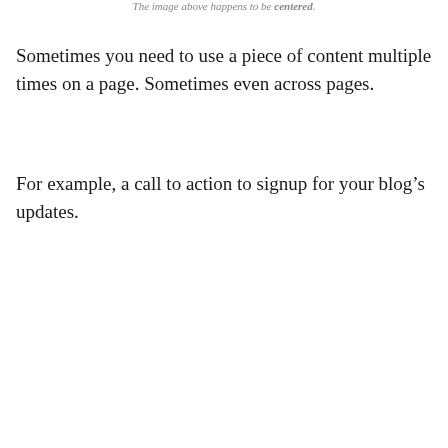The image above happens to be centered.
Sometimes you need to use a piece of content multiple times on a page. Sometimes even across pages.
For example, a call to action to signup for your blog’s updates.